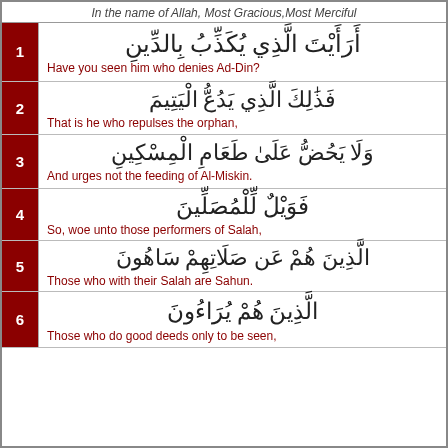In the name of Allah, Most Gracious, Most Merciful
1 | أَرَأَيْتَ الَّذِي يُكَذِّبُ بِالدِّينِ | Have you seen him who denies Ad-Din?
2 | فَذَٰلِكَ الَّذِي يَدُعُّ الْيَتِيمَ | That is he who repulses the orphan,
3 | وَلَا يَحُضُّ عَلَىٰ طَعَامِ الْمِسْكِينِ | And urges not the feeding of Al-Miskin.
4 | فَوَيْلٌ لِّلْمُصَلِّينَ | So, woe unto those performers of Salah,
5 | الَّذِينَ هُمْ عَن صَلَاتِهِمْ سَاهُونَ | Those who with their Salah are Sahun.
6 | الَّذِينَ هُمْ يُرَاءُونَ | Those who do good deeds only to be seen,